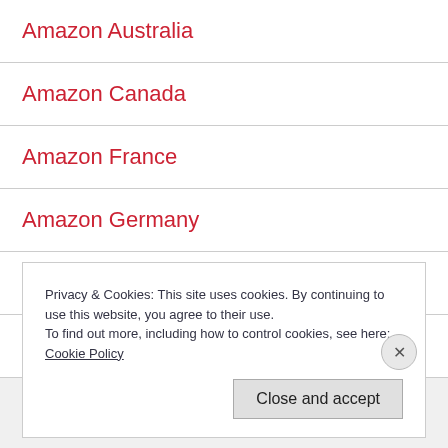Amazon Australia
Amazon Canada
Amazon France
Amazon Germany
Amazon India
Amazon Italy
Privacy & Cookies: This site uses cookies. By continuing to use this website, you agree to their use.
To find out more, including how to control cookies, see here: Cookie Policy
Close and accept